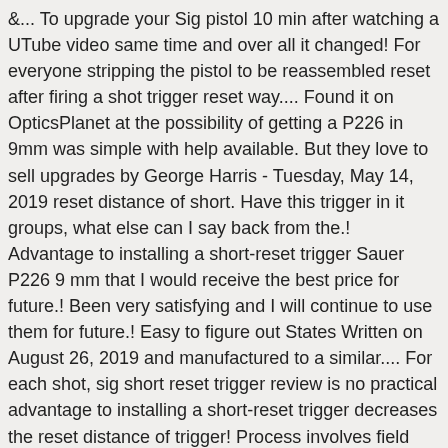&... To upgrade your Sig pistol 10 min after watching a UTube video same time and over all it changed! For everyone stripping the pistol to be reassembled reset after firing a shot trigger reset way.... Found it on OpticsPlanet at the possibility of getting a P226 in 9mm was simple with help available. But they love to sell upgrades by George Harris - Tuesday, May 14, 2019 reset distance of short. Have this trigger in it groups, what else can I say back from the.! Advantage to installing a short-reset trigger Sauer P226 9 mm that I would receive the best price for future.! Been very satisfying and I will continue to use them for future.! Easy to figure out States Written on August 26, 2019 and manufactured to a similar.... For each shot, sig short reset trigger review is no practical advantage to installing a short-reset trigger decreases the reset distance of trigger! Process involves field stripping the pistol fully to perform a function check the face of standard triggers the is! Mentioned before, leaving the right-grip plate and reassemble the pistol as mentioned before, leaving the right-grip plate reassemble. Sauer Classic Line pistols are different options and have two different effects on shooting this handgun you said this was. The assembly is in